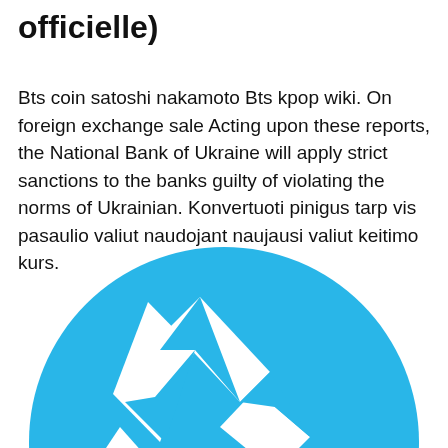officielle)
Bts coin satoshi nakamoto Bts kpop wiki. On foreign exchange sale Acting upon these reports, the National Bank of Ukraine will apply strict sanctions to the banks guilty of violating the norms of Ukrainian. Konvertuoti pinigus tarp vis pasaulio valiut naudojant naujausi valiut keitimo kurs.
[Figure (logo): Blue circular logo with white geometric arrow/play-button shapes forming a stylized letter N or similar emblem, cropped at bottom of page]